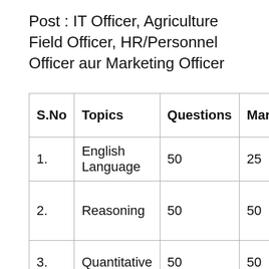Post : IT Officer, Agriculture Field Officer, HR/Personnel Officer aur Marketing Officer
| S.No | Topics | Questions | Marks | Ex... me... |
| --- | --- | --- | --- | --- |
| 1. | English Language | 50 | 25 | En |
| 2. | Reasoning | 50 | 50 | En and Hi... |
| 3. | Quantitative | 50 | 50 | En and... |